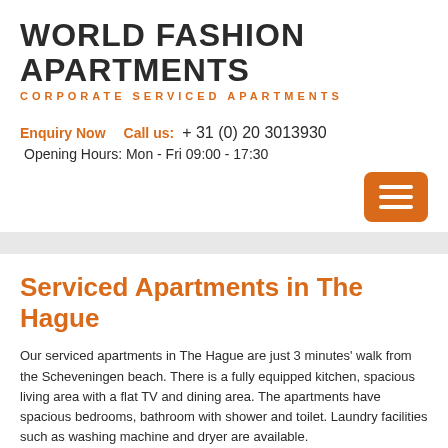WORLD FASHION APARTMENTS
CORPORATE SERVICED APARTMENTS
Enquiry Now   Call us: +31 (0) 20 3013930
Opening Hours: Mon - Fri 09:00 - 17:30
[Figure (other): Orange hamburger/menu button with three white horizontal lines]
Serviced Apartments in The Hague
Our serviced apartments in The Hague are just 3 minutes' walk from the Scheveningen beach. There is a fully equipped kitchen, spacious living area with a flat TV and dining area. The apartments have spacious bedrooms, bathroom with shower and toilet. Laundry facilities such as washing machine and dryer are available.
We make sure that our serviced apartments in The Hague live up to all your expectations. With high speed Wi-Fi internet, weekly housekeeping service